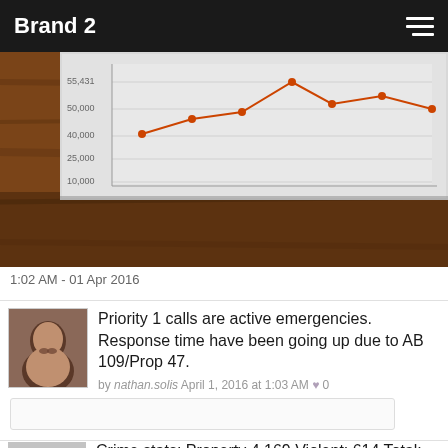Brand 2
[Figure (photo): Photo of a projected screen showing a line chart with crime/call statistics, displayed on a wooden surface background]
1:02 AM - 01 Apr 2016
Priority 1 calls are active emergencies. Response time have been going up due to AB 109/Prop 47.
by nathan.solis April 1, 2016 at 1:03 AM ♥ 0
Crime stats: Property 4,169 Violent: 614 Total: